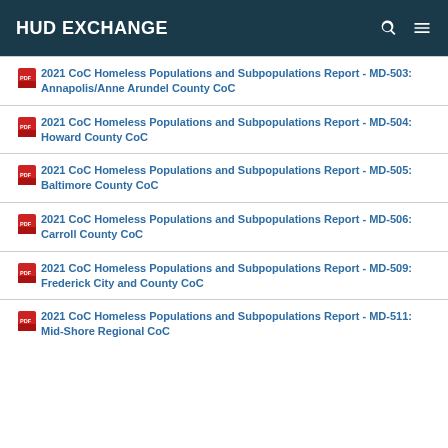HUD EXCHANGE
2021 CoC Homeless Populations and Subpopulations Report - MD-503: Annapolis/Anne Arundel County CoC
2021 CoC Homeless Populations and Subpopulations Report - MD-504: Howard County CoC
2021 CoC Homeless Populations and Subpopulations Report - MD-505: Baltimore County CoC
2021 CoC Homeless Populations and Subpopulations Report - MD-506: Carroll County CoC
2021 CoC Homeless Populations and Subpopulations Report - MD-509: Frederick City and County CoC
2021 CoC Homeless Populations and Subpopulations Report - MD-511: Mid-Shore Regional CoC